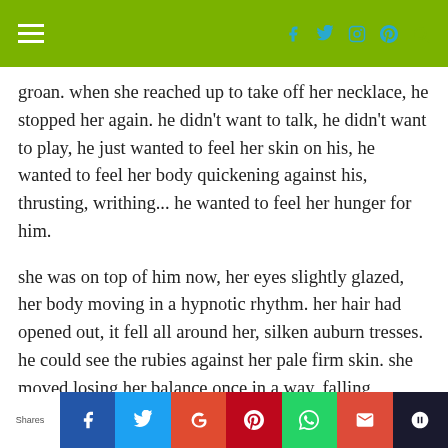Navigation bar with hamburger menu and social icons (Facebook, Twitter, Instagram, Pinterest, Search)
groan. when she reached up to take off her necklace, he stopped her again. he didn't want to talk, he didn't want to play, he just wanted to feel her skin on his, he wanted to feel her body quickening against his, thrusting, writhing... he wanted to feel her hunger for him.
she was on top of him now, her eyes slightly glazed, her body moving in a hypnotic rhythm. her hair had opened out, it fell all around her, silken auburn tresses. he could see the rubies against her pale firm skin. she moved losing her balance once in a way, falling forward... he held her in his arms...
Shares — social share buttons: Facebook, Twitter, Google+, Pinterest, WhatsApp, Gmail, bookmark